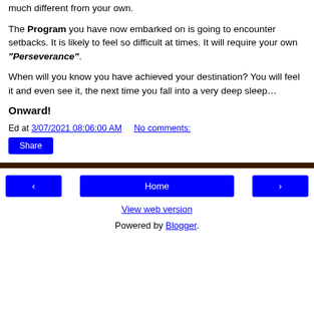much different from your own.
The Program you have now embarked on is going to encounter setbacks. It is likely to feel so difficult at times. It will require your own “Perseverance”.
When will you know you have achieved your destination? You will feel it and even see it, the next time you fall into a very deep sleep…
Onward!
Ed at 3/07/2021 08:06:00 AM   No comments:
Share
Home | View web version | Powered by Blogger.